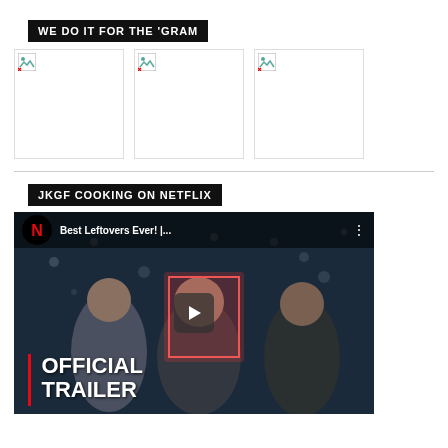WE DO IT FOR THE ‘GRAM
[Figure (photo): Three broken/missing image placeholders arranged in a row, representing Instagram photos]
JKGF COOKING ON NETFLIX
[Figure (screenshot): YouTube/Netflix embedded video thumbnail showing 'Best Leftovers Ever! |...' with Netflix logo, play button, and OFFICIAL TRAILER text overlay with three people on a cooking show set]